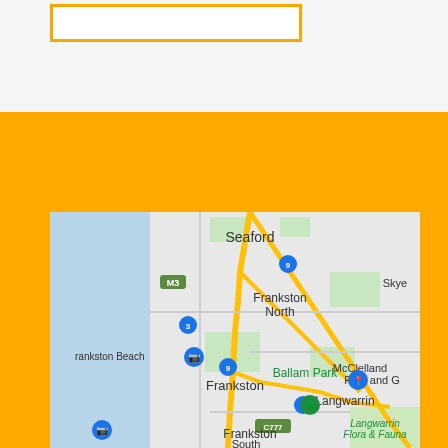[Figure (map): Google Maps screenshot showing Frankston area in Victoria, Australia, including suburbs: Seaford, Frankston North, Frankston, Frankston Beach, Skye, Ballam Park, Langwarrin, Frankston South, Langwarrin Flora & Fauna reserve. Shows road network including M3, C777 highways and numbered routes 3, 4, 9.]